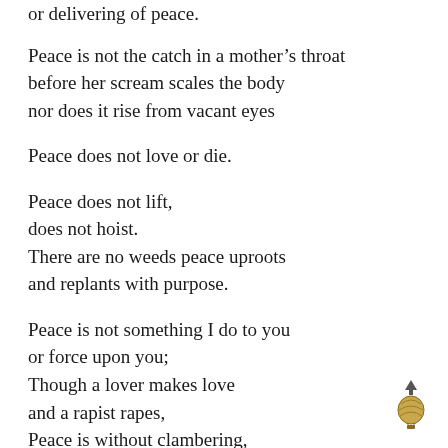or delivering of peace.
Peace is not the catch in a mother’s throat
before her scream scales the body
nor does it rise from vacant eyes
Peace does not love or die.
Peace does not lift,
does not hoist.
There are no weeds peace uproots
and replants with purpose.
Peace is not something I do to you
or force upon you;
Though a lover makes love
and a rapist rapes,
Peace is without clambering,
[Figure (illustration): Small hot air balloon icon with upward arrow above it, bottom right corner]